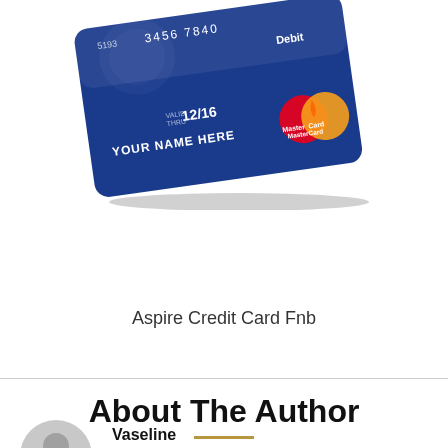[Figure (illustration): A blue MasterCard Debit card shown at an angle with placeholder text 'YOUR NAME HERE', expiry '12/16', number ending in '7840', and a MasterCard logo. Card has a shadow beneath it suggesting it is floating.]
Aspire Credit Card Fnb
About The Author
Vaseline